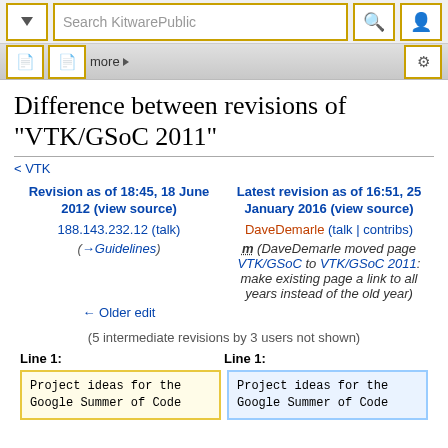Search KitwarePublic
Difference between revisions of "VTK/GSoC 2011"
< VTK
| Left revision | Right revision |
| --- | --- |
| Revision as of 18:45, 18 June 2012 (view source) | Latest revision as of 16:51, 25 January 2016 (view source) |
| 188.143.232.12 (talk) | DaveDemarle (talk | contribs) |
| (→Guidelines) | m (DaveDemarle moved page VTK/GSoC to VTK/GSoC 2011: make existing page a link to all years instead of the old year) |
| ← Older edit |  |
(5 intermediate revisions by 3 users not shown)
Line 1:
Line 1:
Project ideas for the
Google Summer of Code
Project ideas for the
Google Summer of Code